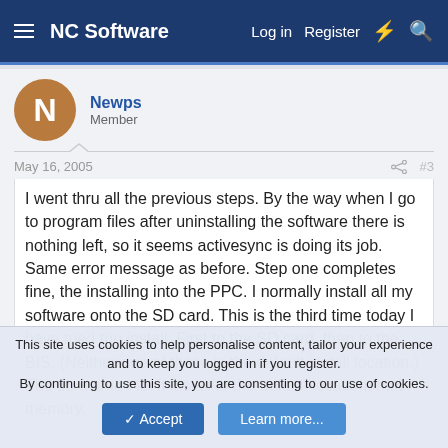NC Software   Log in   Register
Newps
Member
May 16, 2005   #3
I went thru all the previous steps. By the way when I go to program files after uninstalling the software there is nothing left, so it seems activesync is doing its job. Same error message as before. Step one completes fine, the installing into the PPC. I normally install all my software onto the SD card. This is the third time today I have tried the install. First to the SD card, then to the BIS. (Neither one of these is the default install location.) The third time I let it install to the default location, main memory.
This site uses cookies to help personalise content, tailor your experience and to keep you logged in if you register.
By continuing to use this site, you are consenting to our use of cookies.